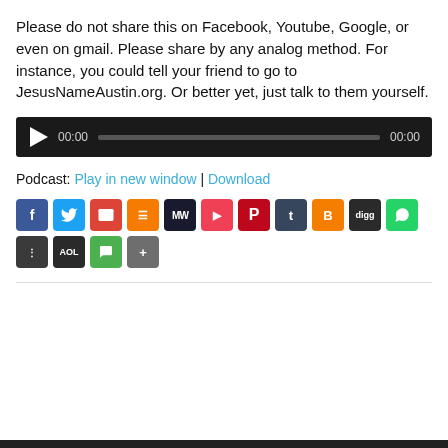Please do not share this on Facebook, Youtube,  Google, or even on gmail.  Please share by any analog method.  For instance, you could tell your friend to go to JesusNameAustin.org. Or better yet, just talk to them yourself.
[Figure (other): Audio podcast player widget with play button, time display 00:00, progress bar, and end time 00:00 on a dark background]
Podcast: Play in new window | Download
[Figure (other): Row of social sharing icon buttons: Facebook, Twitter, Email, Feed, MeWe, Pocket, Pinterest, Tumblr, Blogger, Digg, WhatsApp, Grid, AOL, SMS, Share]